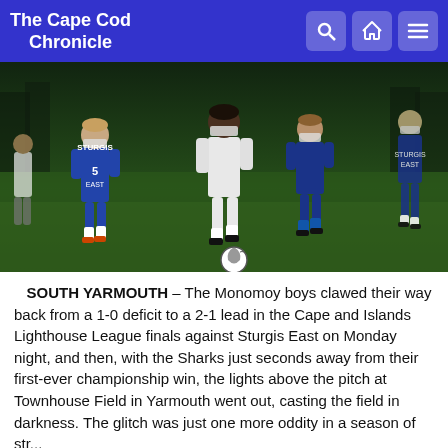The Cape Cod Chronicle
[Figure (photo): Soccer players in a night match. Players wearing masks; one in white uniform controlling the ball surrounded by players in blue 'Sturgis East' uniforms on a green pitch.]
SOUTH YARMOUTH – The Monomoy boys clawed their way back from a 1-0 deficit to a 2-1 lead in the Cape and Islands Lighthouse League finals against Sturgis East on Monday night, and then, with the Sharks just seconds away from their first-ever championship win, the lights above the pitch at Townhouse Field in Yarmouth went out, casting the field in darkness. The glitch was just one more oddity in a season of str...
Read more